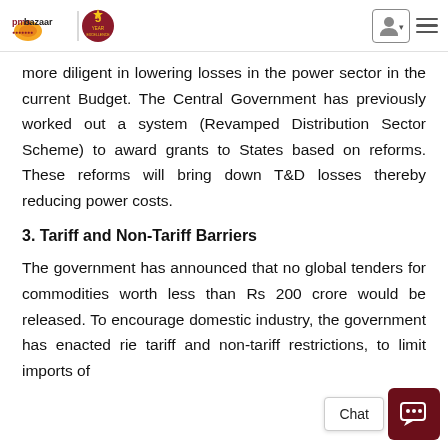pmsbazaar | 5 [anniversary logo] | [user icon] [menu icon]
more diligent in lowering losses in the power sector in the current Budget. The Central Government has previously worked out a system (Revamped Distribution Sector Scheme) to award grants to States based on reforms. These reforms will bring down T&D losses thereby reducing power costs.
3. Tariff and Non-Tariff Barriers
The government has announced that no global tenders for commodities worth less than Rs 200 crore would be released. To encourage domestic industry, the government has enacted rie tariff and non-tariff restrictions, to limit imports of